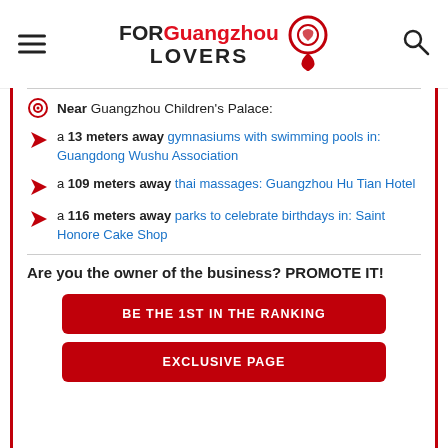FOR Guangzhou LOVERS
Near Guangzhou Children's Palace:
a 13 meters away gymnasiums with swimming pools in: Guangdong Wushu Association
a 109 meters away thai massages: Guangzhou Hu Tian Hotel
a 116 meters away parks to celebrate birthdays in: Saint Honore Cake Shop
Are you the owner of the business? PROMOTE IT!
BE THE 1ST IN THE RANKING
EXCLUSIVE PAGE